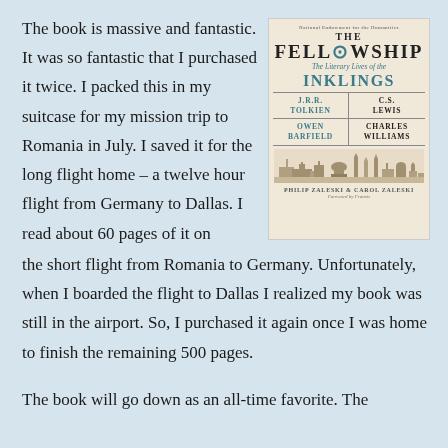The book is massive and fantastic.  It was so fantastic that I purchased it twice.  I packed this in my suitcase for my mission trip to Romania in July.  I saved it for the long flight home – a twelve hour flight from Germany to Dallas.  I read about 60 pages of it on the short flight from Romania to Germany.  Unfortunately, when I boarded the flight to Dallas I realized my book was still in the airport.  So, I purchased it again once I was home to finish the remaining 500 pages.
[Figure (illustration): Book cover of 'The Fellowship: The Literary Lives of the Inklings' by Philip Zaleski & Carol Zaleski, featuring J.R.R. Tolkien, C.S. Lewis, Owen Barfield, and Charles Williams, with a cityscape illustration at the bottom.]
The book will go down as an all-time favorite.  The